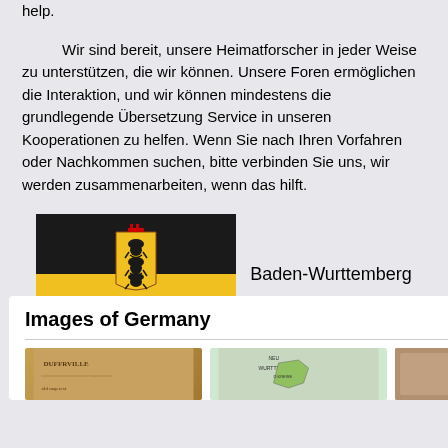help.
Wir sind bereit, unsere Heimatforscher in jeder Weise zu unterstützen, die wir können. Unsere Foren ermöglichen die Interaktion, und wir können mindestens die grundlegende Übersetzung Service in unseren Kooperationen zu helfen. Wenn Sie nach Ihren Vorfahren oder Nachkommen suchen, bitte verbinden Sie uns, wir werden zusammenarbeiten, wenn das hilft.
[Figure (illustration): Flag of Baden-Württemberg: top half black, bottom half yellow/gold, with coat of arms (three black lions on yellow shield with red and white accents) centered on the flag]
Baden-Wurttemberg
Visit our German Discussion Forums or return to the Germany Page
Images of Germany